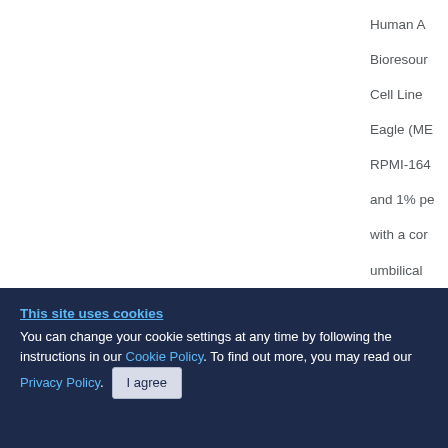Human A Bioresour Cell Line Eagle (ME RPMI-164 and 1% pe with a cor umbilical flasks in e at 37°C. 3 proteinase purchased
Cell viab
This site uses cookies
You can change your cookie settings at any time by following the instructions in our Cookie Policy. To find out more, you may read our Privacy Policy.